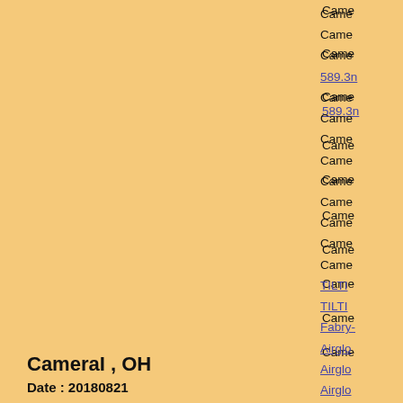CameraI , OH
Date : 20180821
Click figure to enlarge
Came...
Came...
Came... 589.3n...
Came...
Came...
Came...
Came...
Came...
Came...
Came...
Came...
Came...
Came...
TILTI...
TILTI...
Fabry-...
Airglo...
Airglo...
Airglo...
Airglo...
3-ch p...
3-ch p...